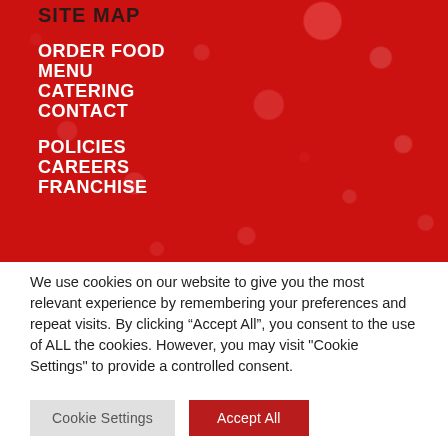SITE MAP
ORDER FOOD
MENU
CATERING
CONTACT
POLICIES
CAREERS
FRANCHISE
We use cookies on our website to give you the most relevant experience by remembering your preferences and repeat visits. By clicking “Accept All”, you consent to the use of ALL the cookies. However, you may visit "Cookie Settings" to provide a controlled consent.